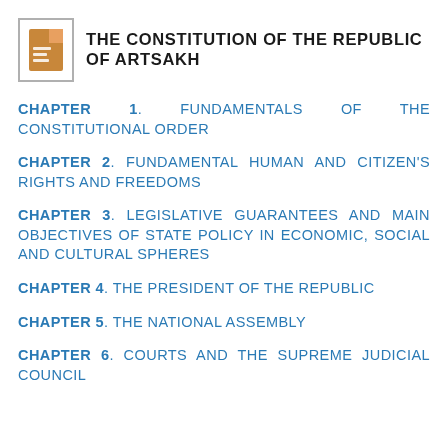THE CONSTITUTION OF THE REPUBLIC OF ARTSAKH
CHAPTER 1. FUNDAMENTALS OF THE CONSTITUTIONAL ORDER
CHAPTER 2. FUNDAMENTAL HUMAN AND CITIZEN'S RIGHTS AND FREEDOMS
CHAPTER 3. LEGISLATIVE GUARANTEES AND MAIN OBJECTIVES OF STATE POLICY IN ECONOMIC, SOCIAL AND CULTURAL SPHERES
CHAPTER 4. THE PRESIDENT OF THE REPUBLIC
CHAPTER 5. THE NATIONAL ASSEMBLY
CHAPTER 6. COURTS AND THE SUPREME JUDICIAL COUNCIL